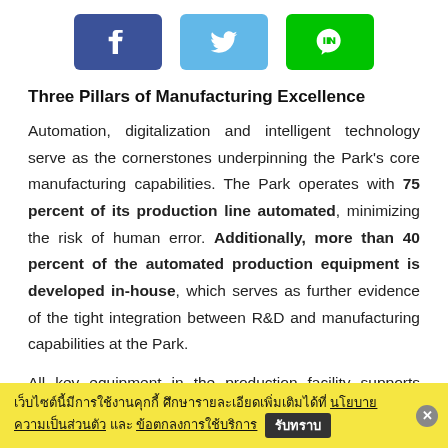[Figure (other): Three social share buttons: Facebook (dark blue), Twitter (light blue), Line (green)]
Three Pillars of Manufacturing Excellence
Automation, digitalization and intelligent technology serve as the cornerstones underpinning the Park's core manufacturing capabilities. The Park operates with 75 percent of its production line automated, minimizing the risk of human error. Additionally, more than 40 percent of the automated production equipment is developed in-house, which serves as further evidence of the tight integration between R&D and manufacturing capabilities at the Park.
All key equipment in the production facility supports digital control systems, allowing HONOR to better
เว็บไซต์นี้มีการใช้งานคุกกี้ ศึกษารายละเอียดเพิ่มเติมได้ที่ นโยบายความเป็นส่วนตัว และ ข้อตกลงการใช้บริการ รับทราบ